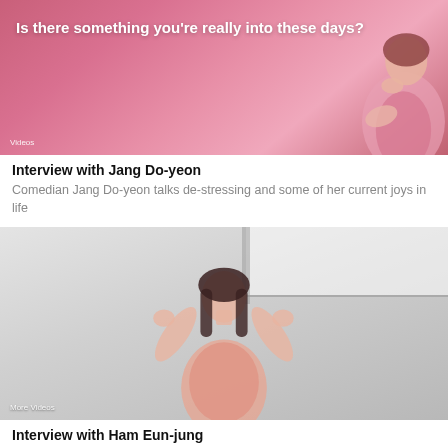[Figure (photo): Video thumbnail showing a woman in pink outfit resting chin on hand against pink background, with overlay text 'Is there something you're really into these days?' and 'Videos' label at bottom left]
Interview with Jang Do-yeon
Comedian Jang Do-yeon talks de-stressing and some of her current joys in life
[Figure (photo): Video thumbnail showing a woman in pink blouse with hands raised expressively, against a light grey/white room background, with 'More Videos' label at bottom left]
Interview with Ham Eun-jung